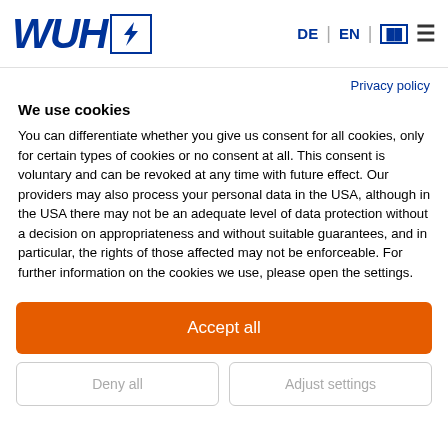[Figure (logo): WUH logo with stylized italic letters W U H in dark blue and a boxed lightning bolt/arrow icon, followed by navigation links: DE | EN | [icon] and hamburger menu]
Privacy policy
We use cookies
You can differentiate whether you give us consent for all cookies, only for certain types of cookies or no consent at all. This consent is voluntary and can be revoked at any time with future effect. Our providers may also process your personal data in the USA, although in the USA there may not be an adequate level of data protection without a decision on appropriateness and without suitable guarantees, and in particular, the rights of those affected may not be enforceable. For further information on the cookies we use, please open the settings.
Accept all
Deny all
Adjust settings